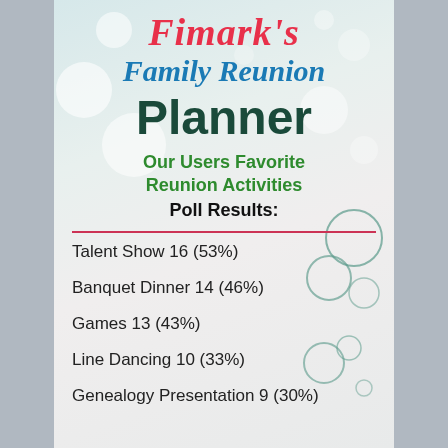Fimark's Family Reunion Planner
Our Users Favorite Reunion Activities
Poll Results:
Talent Show 16 (53%)
Banquet Dinner 14 (46%)
Games 13 (43%)
Line Dancing 10 (33%)
Genealogy Presentation 9 (30%)